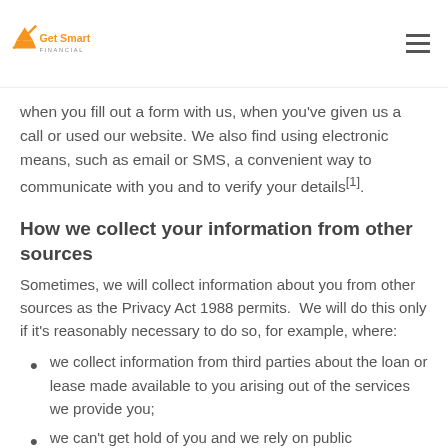Get Smart Financial
when you fill out a form with us, when you've given us a call or used our website. We also find using electronic means, such as email or SMS, a convenient way to communicate with you and to verify your details[1].
How we collect your information from other sources
Sometimes, we will collect information about you from other sources as the Privacy Act 1988 permits.  We will do this only if it's reasonably necessary to do so, for example, where:
we collect information from third parties about the loan or lease made available to you arising out of the services we provide you;
we can't get hold of you and we rely on public information (for example, from public registers or